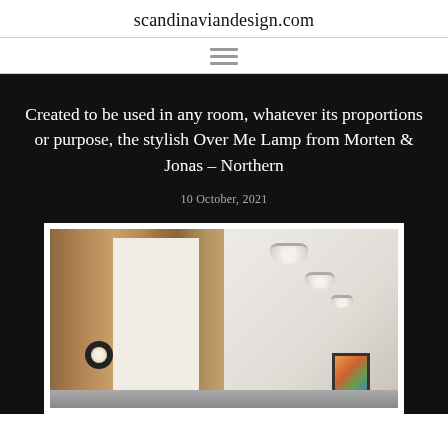scandinaviandesign.com
Created to be used in any room, whatever its proportions or purpose, the stylish Over Me Lamp from Morten & Jonas – Northern
10 October, 2021
[Figure (photo): Interior corridor with warm wood-panelled walls, white ceiling with multiple round ceiling-mounted Over Me lamps in a row receding into the distance, and a round wall-mounted lamp on the left wall. A framed artwork is visible at the end of the corridor.]